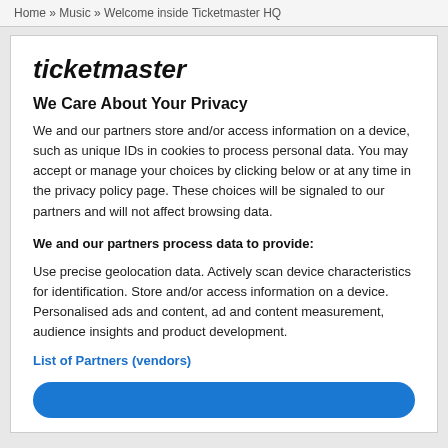Home » Music » Welcome inside Ticketmaster HQ
ticketmaster
We Care About Your Privacy
We and our partners store and/or access information on a device, such as unique IDs in cookies to process personal data. You may accept or manage your choices by clicking below or at any time in the privacy policy page. These choices will be signaled to our partners and will not affect browsing data.
We and our partners process data to provide:
Use precise geolocation data. Actively scan device characteristics for identification. Store and/or access information on a device. Personalised ads and content, ad and content measurement, audience insights and product development.
List of Partners (vendors)